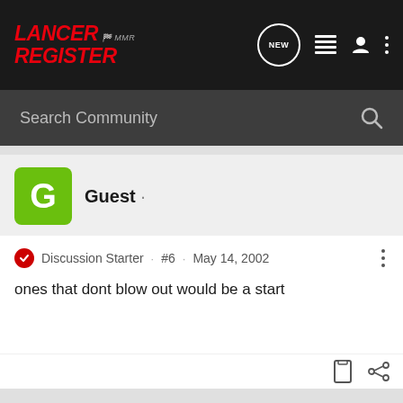Lancer Register · NEW · navigation icons
Search Community
Guest ·
Discussion Starter · #6 · May 14, 2002
ones that dont blow out would be a start